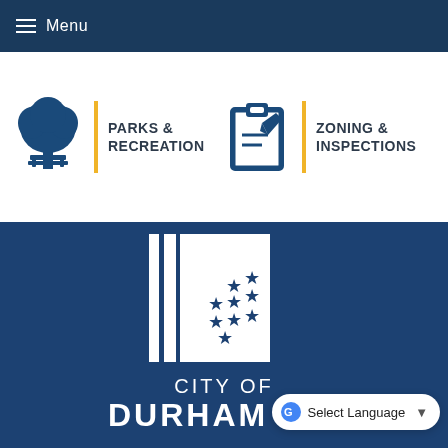Menu
[Figure (logo): Parks & Recreation department link with tree icon and yellow vertical bar]
[Figure (logo): Zoning & Inspections department link with clipboard icon and yellow vertical bar]
[Figure (logo): City of Durham official logo — white vertical bars and stars on dark blue background with text CITY OF DURHAM]
Select Language